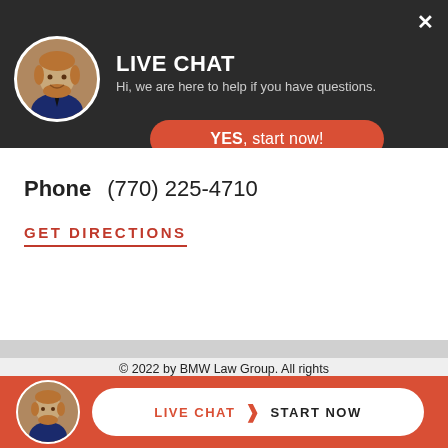[Figure (screenshot): Live chat popup header with avatar photo, title LIVE CHAT, subtitle text, close button, and YES start now red button]
Phone  (770) 225-4710
GET DIRECTIONS
© 2022 by BMW Law Group. All rights reserved. Disclaimer | Google Reviews
SITE BY ilawyermarketing.com
[Figure (screenshot): Bottom red bar with avatar photo and LIVE CHAT > START NOW white button]